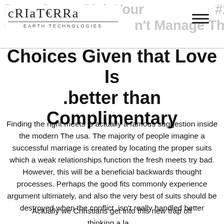CRIATERRA EARTH TECHNOLOGIES
Choices Given that Love Is .better than Complimentary
Finding the right meets is actually a famous suggestion inside the modern The usa. The majority of people imagine a successful marriage is created by locating the proper suits which a weak relationships function the fresh meets try bad. However, this will be a beneficial backwards thought processes. Perhaps the good fits commonly experience argument ultimately, and also the very best of suits should be destroyed when the conflict .isn't really handled better
Actually we Christians get into this new trap off thinking a la…